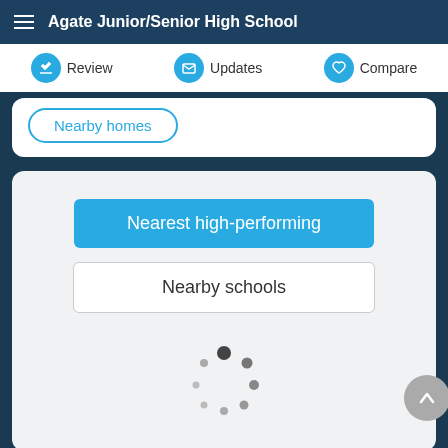Agate Junior/Senior High School
Review
Updates
Compare
Nearby homes
Nearest high-performing
Nearby schools
[Figure (infographic): Loading spinner with dots of varying sizes arranged in a circular pattern]